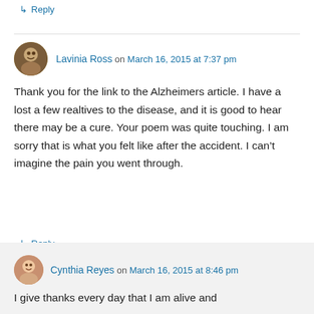↳ Reply
Lavinia Ross on March 16, 2015 at 7:37 pm
Thank you for the link to the Alzheimers article. I have a lost a few realtives to the disease, and it is good to hear there may be a cure. Your poem was quite touching. I am sorry that is what you felt like after the accident. I can't imagine the pain you went through.
↳ Reply
Cynthia Reyes on March 16, 2015 at 8:46 pm
I give thanks every day that I am alive and